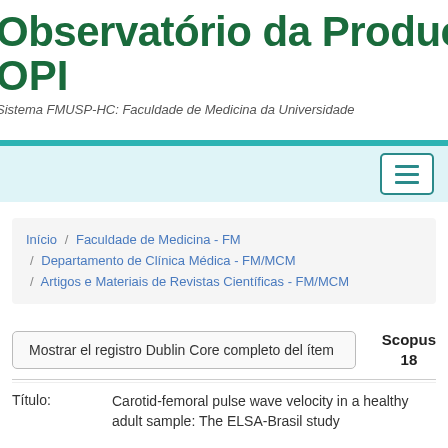Observatório da Produção I OPI Sistema FMUSP-HC: Faculdade de Medicina da Universidade
[Figure (screenshot): Navigation bar with teal stripe and hamburger menu button on light blue background]
Início / Faculdade de Medicina - FM / Departamento de Clínica Médica - FM/MCM / Artigos e Materiais de Revistas Científicas - FM/MCM
Mostrar el registro Dublin Core completo del ítem
Scopus
18
| Título: |  |
| --- | --- |
| Título: | Carotid-femoral pulse wave velocity in a healthy adult sample: The ELSA-Brasil study |